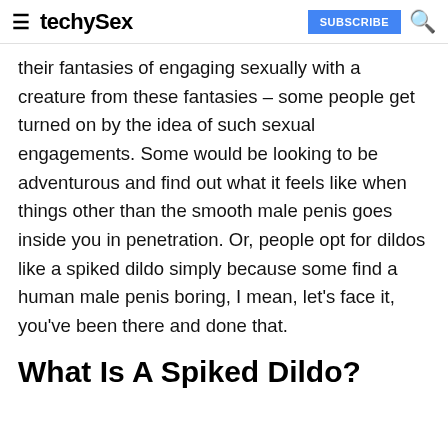≡ techySex  SUBSCRIBE 🔍
their fantasies of engaging sexually with a creature from these fantasies – some people get turned on by the idea of such sexual engagements. Some would be looking to be adventurous and find out what it feels like when things other than the smooth male penis goes inside you in penetration. Or, people opt for dildos like a spiked dildo simply because some find a human male penis boring, I mean, let's face it, you've been there and done that.
What Is A Spiked Dildo?